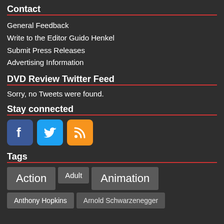Contact
General Feedback
Write to the Editor Guido Henkel
Submit Press Releases
Advertising Information
DVD Review Twitter Feed
Sorry, no Tweets were found.
Stay connected
[Figure (infographic): Social media icons: Facebook (blue), Twitter (cyan), RSS (orange)]
Tags
Action
Adult
Animation
Anthony Hopkins
Arnold Schwarzenegger